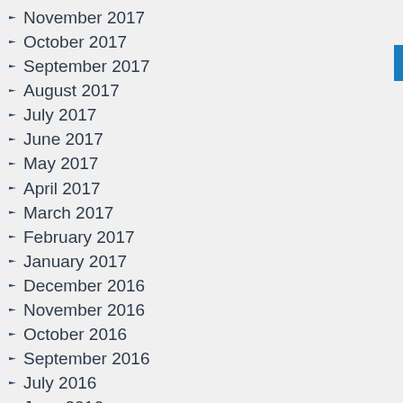November 2017
October 2017
September 2017
August 2017
July 2017
June 2017
May 2017
April 2017
March 2017
February 2017
January 2017
December 2016
November 2016
October 2016
September 2016
July 2016
June 2016
May 2016
Categories